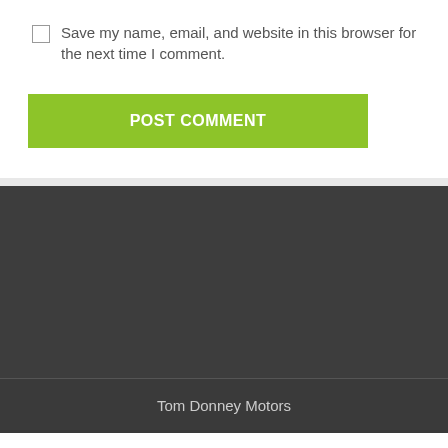Save my name, email, and website in this browser for the next time I comment.
[Figure (screenshot): Green POST COMMENT button]
[Figure (screenshot): Dark gray footer area]
Tom Donney Motors